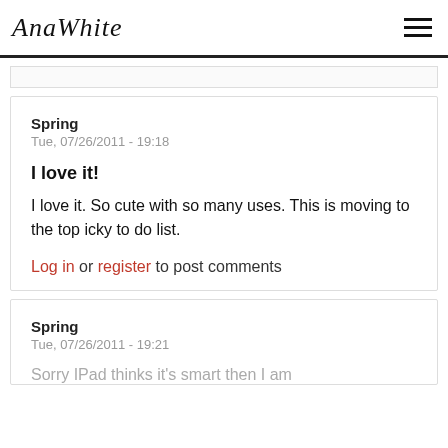AnaWhite
Spring
Tue, 07/26/2011 - 19:18

I love it!

I love it. So cute with so many uses. This is moving to the top icky to do list.

Log in or register to post comments
Spring
Tue, 07/26/2011 - 19:21

Sorry IPad thinks it's smart then I am